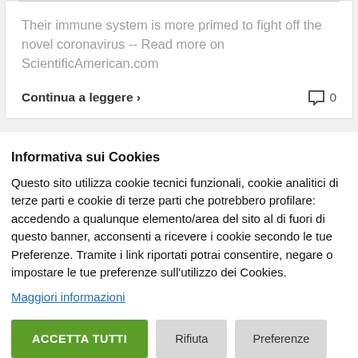Their immune system is more primed to fight off the novel coronavirus -- Read more on ScientificAmerican.com
Continua a leggere >   0
Informativa sui Cookies
Questo sito utilizza cookie tecnici funzionali, cookie analitici di terze parti e cookie di terze parti che potrebbero profilare: accedendo a qualunque elemento/area del sito al di fuori di questo banner, acconsenti a ricevere i cookie secondo le tue Preferenze. Tramite i link riportati potrai consentire, negare o impostare le tue preferenze sull'utilizzo dei Cookies.
Maggiori informazioni
ACCETTA TUTTI   Rifiuta   Preferenze